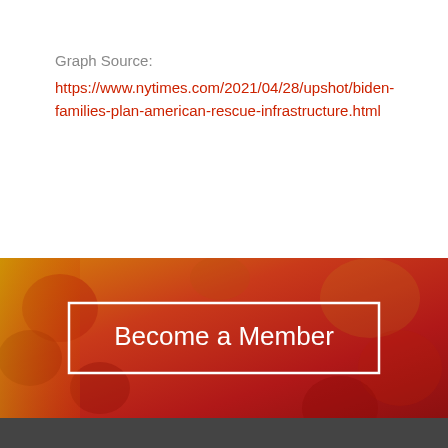Graph Source:
https://www.nytimes.com/2021/04/28/upshot/biden-families-plan-american-rescue-infrastructure.html
[Figure (illustration): Red and orange gradient banner background with Maryland flag puzzle piece pattern overlay, containing a white-bordered button labeled 'Become a Member']